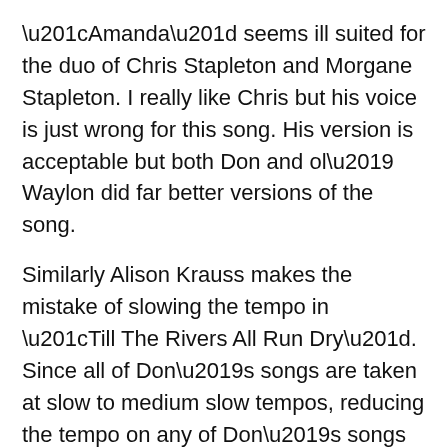“Amanda” seems ill suited for the duo of Chris Stapleton and Morgane Stapleton. I really like Chris but his voice is just wrong for this song. His version is acceptable but both Don and ol’ Waylon did far better versions of the song.
Similarly Alison Krauss makes the mistake of slowing the tempo in “Till The Rivers All Run Dry”. Since all of Don’s songs are taken at slow to medium slow tempos, reducing the tempo on any of Don’s songs is a mistake. Alison provides a gorgeous vocal, but the song just seems to drag. Don co-wrote this song with Wayland Holyfield, his fourth #1 from back in 1976.
I regard John Prine as a talented songwriter but a poor vocalist with his vocal efforts ranging from mediocre to terrible. Somehow “Love Is On A Roll” works. It was a good idea to pair him with Roger Cook, especially since